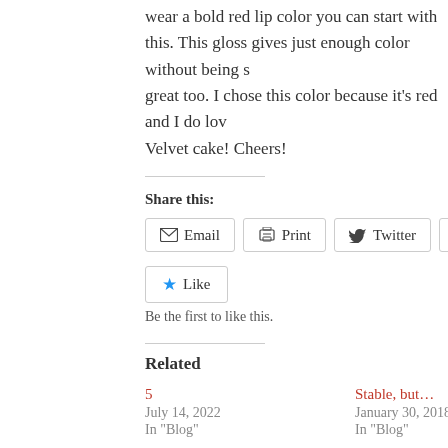wear a bold red lip color you can start with this. This gloss gives just enough color without being so great too. I chose this color because it's red and I do lov Velvet cake! Cheers!
Share this:
Email  Print  Twitter  Facebook
Like  Be the first to like this.
Related
5
July 14, 2022
In "Blog"
Stable, but...
January 30, 2018
In "Blog"
Prayer, Christianity
September 24, 2017
In "Blog"